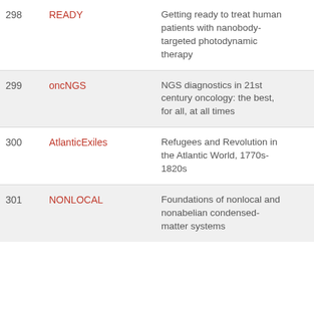| # | Name | Description |  |
| --- | --- | --- | --- |
| 298 | READY | Getting ready to treat human patients with nanobody-targeted photodynamic therapy | 2 |
| 299 | oncNGS | NGS diagnostics in 21st century oncology: the best, for all, at all times | 2 |
| 300 | AtlanticExiles | Refugees and Revolution in the Atlantic World, 1770s-1820s | 2 |
| 301 | NONLOCAL | Foundations of nonlocal and nonabelian condensed-matter systems | 2 |